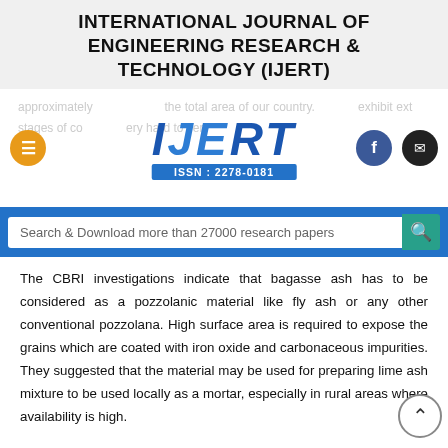INTERNATIONAL JOURNAL OF ENGINEERING RESEARCH & TECHNOLOGY (IJERT)
[Figure (logo): IJERT logo with ISSN: 2278-0181, overlaid on faded background text about bagasse ash covering total area of country]
Search & Download more than 27000 research papers
The CBRI investigations indicate that bagasse ash has to be considered as a pozzolanic material like fly ash or any other conventional pozzolana. High surface area is required to expose the grains which are coated with iron oxide and carbonaceous impurities. They suggested that the material may be used for preparing lime ash mixture to be used locally as a mortar, especially in rural areas where availability is high.